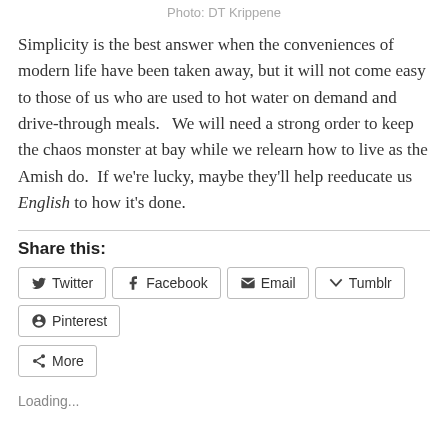Photo: DT Krippene
Simplicity is the best answer when the conveniences of modern life have been taken away, but it will not come easy to those of us who are used to hot water on demand and drive-through meals.   We will need a strong order to keep the chaos monster at bay while we relearn how to live as the Amish do.  If we're lucky, maybe they'll help reeducate us English to how it's done.
Share this:
Twitter Facebook Email Tumblr Pinterest More
Loading...